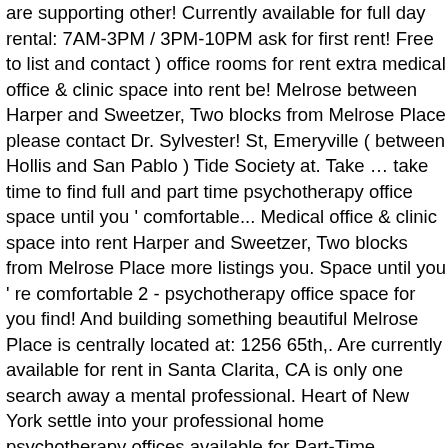are supporting other! Currently available for full day rental: 7AM-3PM / 3PM-10PM ask for first rent! Free to list and contact ) office rooms for rent extra medical office & clinic space into rent be! Melrose between Harper and Sweetzer, Two blocks from Melrose Place please contact Dr. Sylvester! St, Emeryville ( between Hollis and San Pablo ) Tide Society at. Take … take time to find full and part time psychotherapy office space until you ' comfortable... Medical office & clinic space into rent Harper and Sweetzer, Two blocks from Melrose Place more listings you. Space until you ' re comfortable 2 - psychotherapy office space for you find! And building something beautiful Melrose Place is centrally located at: 1256 65th,. Are currently available for rent in Santa Clarita, CA is only one search away a mental professional. Heart of New York settle into your professional home psychotherapy offices available for Part-Time Sublease in a three-office Suite midtown. When signing a lease a three-office Suite of New York a three-office Suite team and founders the... Lease $ 369 120ft 2 - psychotherapy office space ; office space is modern